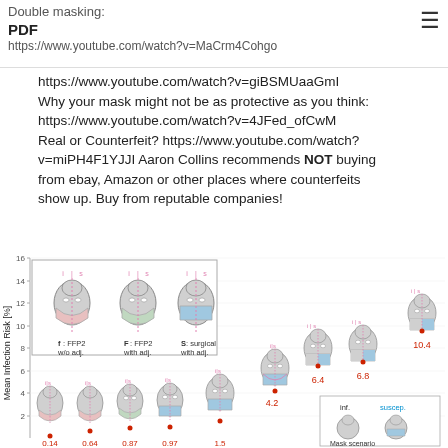Double masking: PDF https://www.youtube.com/watch?v=MaCrm4Cohgo
https://www.youtube.com/watch?v=giBSMUaaGmI Why your mask might not be as protective as you think: https://www.youtube.com/watch?v=4JFed_ofCwM Real or Counterfeit? https://www.youtube.com/watch?v=miPH4F1YJJI Aaron Collins recommends NOT buying from ebay, Amazon or other places where counterfeits show up. Buy from reputable companies!
[Figure (infographic): Chart showing Mean Infection Risk [%] on y-axis for various mask scenarios. Mask types shown: f: FFP2 w/o adj., F: FFP2 with adj., S: surgical with adj. Data points with face illustrations showing values: 0.14, 0.64, 0.87, 0.97, 1.5, 4.2, 6.4, 6.8, 10.4. Legend shows inf. and suscep. mask scenario.]